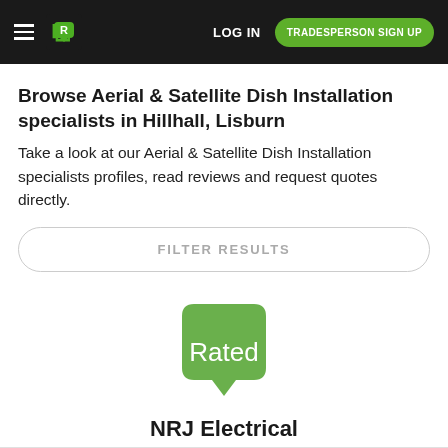LOG IN | TRADESPERSON SIGN UP
Browse Aerial & Satellite Dish Installation specialists in Hillhall, Lisburn
Take a look at our Aerial & Satellite Dish Installation specialists profiles, read reviews and request quotes directly.
FILTER RESULTS
[Figure (logo): Rated People logo - green speech bubble with 'Rated' text in white]
NRJ Electrical
Aerial & Satellite Dish Installation in Hillhall
★★★★☆ (151) Read reviews